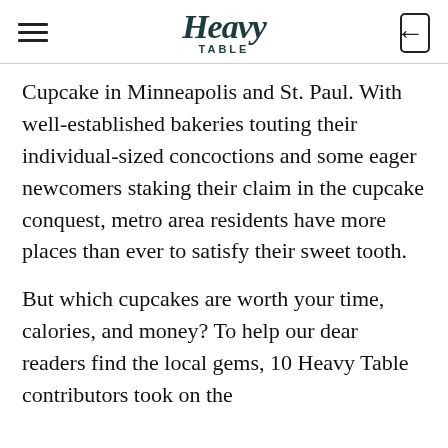Heavy Table
Cupcake in Minneapolis and St. Paul. With well-established bakeries touting their individual-sized concoctions and some eager newcomers staking their claim in the cupcake conquest, metro area residents have more places than ever to satisfy their sweet tooth.
But which cupcakes are worth your time, calories, and money? To help our dear readers find the local gems, 10 Heavy Table contributors took on the